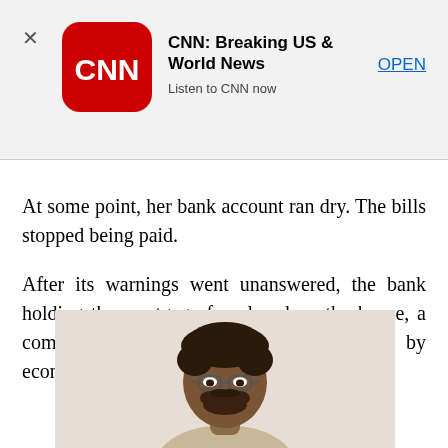[Figure (screenshot): CNN app banner advertisement showing CNN logo, title 'CNN: Breaking US & World News', subtitle 'Listen to CNN now', and an OPEN button, with a close X on the left.]
At some point, her bank account ran dry. The bills stopped being paid.
After its warnings went unanswered, the bank holding the mortgage foreclosed on the house, a common occurrence in a region hit hard by economic woes.
[Figure (photo): Photo of a smiling man with glasses and short beard, wearing casual attire, on a light beige background, cropped at the shoulders.]